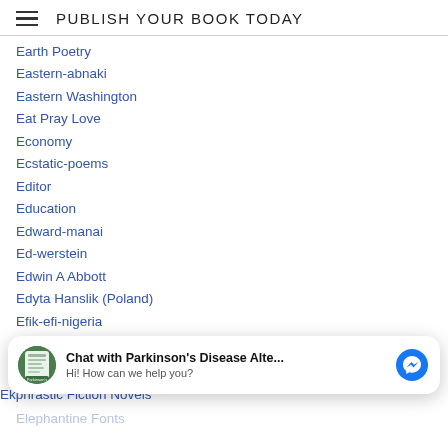PUBLISH YOUR BOOK TODAY
Earth Poetry
Eastern-abnaki
Eastern Washington
Eat Pray Love
Economy
Ecstatic-poems
Editor
Education
Edward-manai
Ed-werstein
Edwin A Abbott
Edyta Hanslik (Poland)
Efik-efi-nigeria
Egyptian-north-africa
[Figure (screenshot): Chat widget overlay: avatar with book cover, bold text 'Chat with Parkinson's Disease Alte...' and subtext 'Hi! How can we help you?', Messenger icon button]
Ekphrastic Fiction Novels
Elephantine Fonts